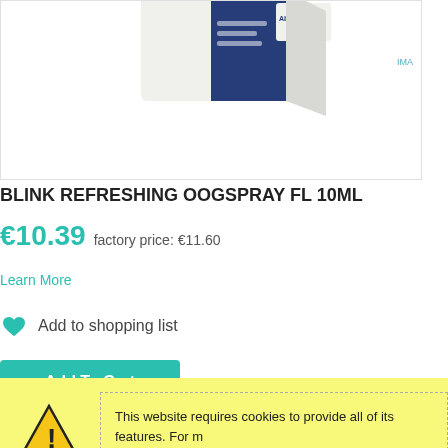[Figure (photo): Product image of Blink Refreshing Oogspray 10ml box, partially cropped at top, with IMA label in top right corner]
BLINK REFRESHING OOGSPRAY FL 10ML
€10.39  factory price: €11.60
Learn More
Add to shopping list
Add To Cart
This website requires cookies to provide all of its features. For m... Privacy Policy page. To accept cookies from this site, please click...
Allow